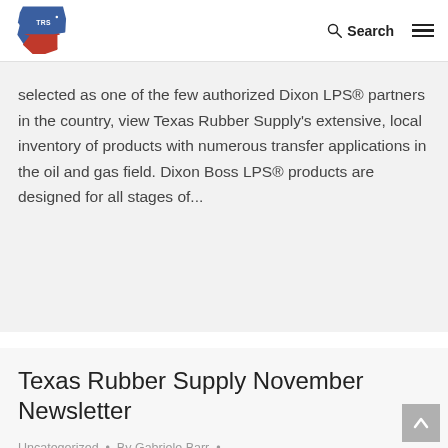TRS logo | Search | Menu
selected as one of the few authorized Dixon LPS® partners in the country, view Texas Rubber Supply's extensive, local inventory of products with numerous transfer applications in the oil and gas field. Dixon Boss LPS® products are designed for all stages of...
Texas Rubber Supply November Newsletter
Uncategorized • By Gabriele Barr • November 15, 2017 • Leave a comment
November 2017 [divider line_type="No Line"